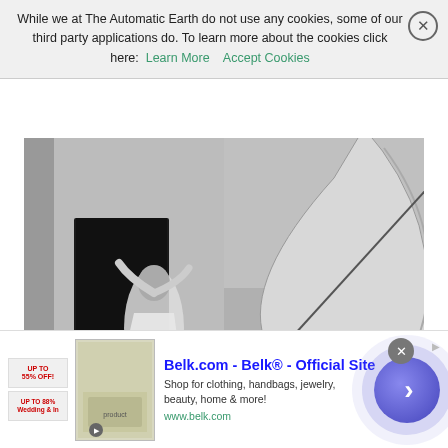While we at The Automatic Earth do not use any cookies, some of our third party applications do. To learn more about the cookies click here: Learn More   Accept Cookies
[Figure (photo): Black and white photograph showing two women in motion outdoors near a whitewashed Mediterranean building with a dark doorway. The right half shows an abstract close-up of a curved sail or wing shape with the sea and horizon visible in the background. Rocky ground and white architectural structures visible in the lower right.]
Belk.com - Belk® - Official Site
Shop for clothing, handbags, jewelry, beauty, home & more!
www.belk.com